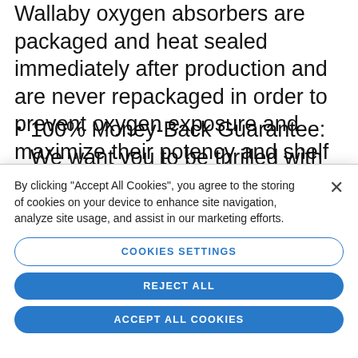Wallaby oxygen absorbers are packaged and heat sealed immediately after production and are never repackaged in order to prevent oxygen exposure and maximize their potency and shelf life.
100% Money-Back Guarantee: We want you to be thrilled with our mylar bags. If you're not
[Figure (screenshot): Cookie consent modal with text 'By clicking "Accept All Cookies", you agree to the storing of cookies on your device to enhance site navigation, analyze site usage, and assist in our marketing efforts.' and three buttons: COOKIES SETTINGS (outlined), REJECT ALL (filled blue), ACCEPT ALL COOKIES (filled blue), with an X close button.]